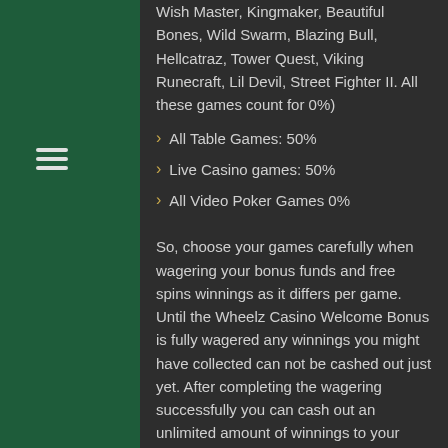Wish Master, Kingmaker, Beautiful Bones, Wild Swarm, Blazing Bull, Hellcatraz, Tower Quest, Viking Runecraft, Lil Devil, Street Fighter II. All these games count for 0%)
All Table Games: 50%
Live Casino games: 50%
All Video Poker Games 0%
So, choose your games carefully when wagering your bonus funds and free spins winnings as it differs per game. Until the Wheelz Casino Welcome Bonus is fully wagered any winnings you might have collected can not be cashed out just yet. After completing the wagering successfully you can cash out an unlimited amount of winnings to your personal bank account and spend it at will. For this bonus there is a maximum bet of NZ$5 or NZ$0,50 per